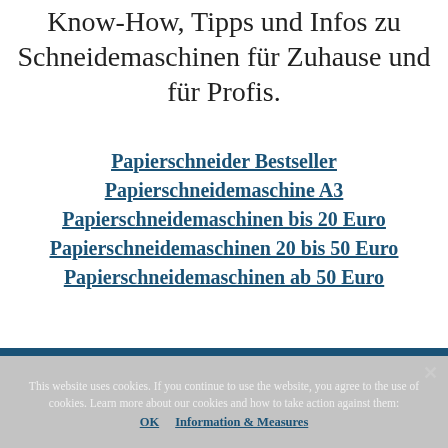Know-How, Tipps und Infos zu Schneidemaschinen für Zuhause und für Profis.
Papierschneider Bestseller
Papierschneidemaschine A3
Papierschneidemaschinen bis 20 Euro
Papierschneidemaschinen 20 bis 50 Euro
Papierschneidemaschinen ab 50 Euro
This website uses cookies. If you continue to use the website, you agree to the use of cookies. Learn more about our cookies and how to take action against them: